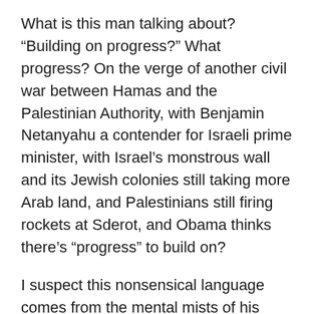What is this man talking about? “Building on progress?” What progress? On the verge of another civil war between Hamas and the Palestinian Authority, with Benjamin Netanyahu a contender for Israeli prime minister, with Israel’s monstrous wall and its Jewish colonies still taking more Arab land, and Palestinians still firing rockets at Sderot, and Obama thinks there’s “progress” to build on?
I suspect this nonsensical language comes from the mental mists of his future Secretary of State. “At least in conversation” is pure Hillary Clinton – its meaning totally eludes me – and the giveaway phrase about progress being made “around” the Israeli-Palestinian conflict is even weirder. Of course if Obama had talked about an end to Jewish settlement building on Arab land – the only actual “building” that is going on in the conflict – relations with